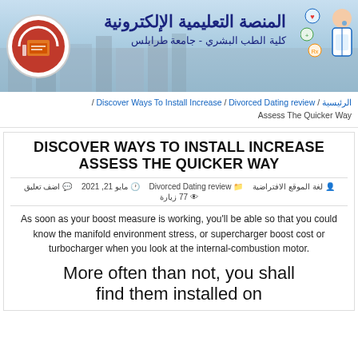[Figure (logo): Banner of Al-Manassa Al-Taleemia Al-Electronia - Faculty of Medicine, University of Tripoli, with logo, Arabic text, and doctor illustration]
الرئيسية / Discover Ways To Install Increase / Divorced Dating review / Assess The Quicker Way
DISCOVER WAYS TO INSTALL INCREASE ASSESS THE QUICKER WAY
لغة الموقع الافتراضية  Divorced Dating review  مايو 21, 2021  اضف تعليق  77 زيارة
As soon as your boost measure is working, you'll be able so that you could know the manifold environment stress, or supercharger boost cost or turbocharger when you look at the internal-combustion motor.
More often than not, you shall find them installed on